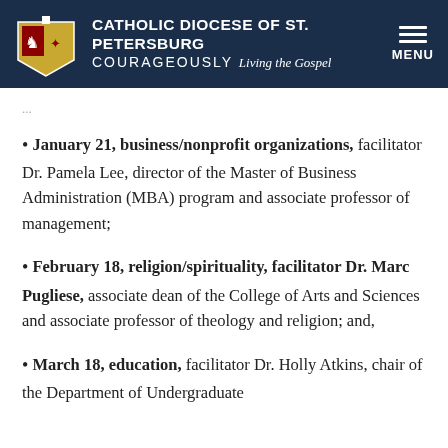CATHOLIC DIOCESE OF ST. PETERSBURG COURAGEOUSLY Living the Gospel MENU
January 21, business/nonprofit organizations, facilitator Dr. Pamela Lee, director of the Master of Business Administration (MBA) program and associate professor of management;
February 18, religion/spirituality, facilitator Dr. Marc Pugliese, associate dean of the College of Arts and Sciences and associate professor of theology and religion; and,
March 18, education, facilitator Dr. Holly Atkins, chair of the Department of Undergraduate